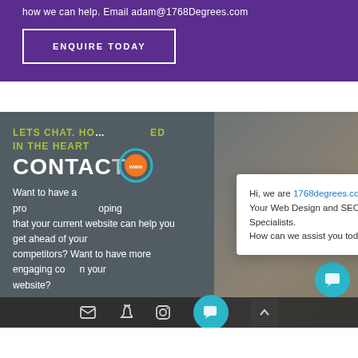how we can help. Email adam@1768Degrees.com
ENQUIRE TODAY
LETS CHAT. HOW ... ED IN THE HEART
CONTACT
Want to have a pro... oping that your current website can help you get ahead of your competitors? Want to have more engaging co... n your website?
[Figure (screenshot): Chat popup widget showing '1768degrees.com - Your Web Design and SEO Specialists. How can we assist you today?' with orange/blue icon and close button]